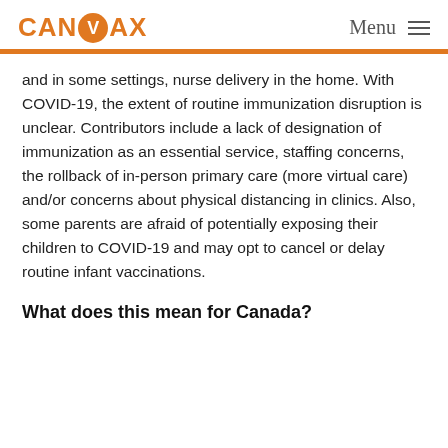CANVAX | Menu
and in some settings, nurse delivery in the home. With COVID-19, the extent of routine immunization disruption is unclear. Contributors include a lack of designation of immunization as an essential service, staffing concerns, the rollback of in-person primary care (more virtual care) and/or concerns about physical distancing in clinics. Also, some parents are afraid of potentially exposing their children to COVID-19 and may opt to cancel or delay routine infant vaccinations.
What does this mean for Canada?